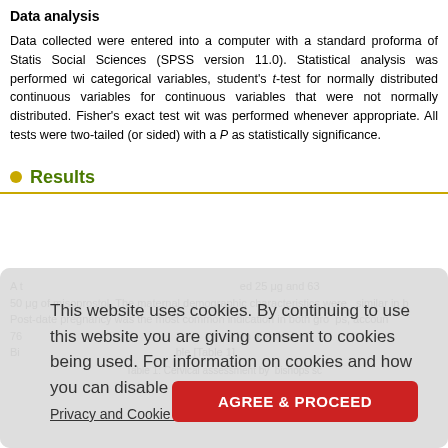Data analysis
Data collected were entered into a computer with a standard proforma of Statistical Package for Social Sciences (SPSS version 11.0). Statistical analysis was performed with chi-square test for categorical variables, student's t-test for normally distributed continuous variables and Mann-Whitney U test for continuous variables that were not normally distributed. Fisher's exact test with Yates correction was performed whenever appropriate. All tests were two-tailed (or sided) with a P value < 0.05 regarded as statistically significance.
Results
A total of ... received 25 μg and 63 ... 50 μg of misoprostol. The maternal demographic characteristics were similar in both groups. Post-date pregnancy was the most common indication in both groups, accounting for 76% ... cervical assessment by bishops score are summarized in the following Table [Table 1].
Table 1: Cervical assessment by bishops score
[Figure (screenshot): Cookie consent overlay with text 'This website uses cookies. By continuing to use this website you are giving consent to cookies being used. For information on cookies and how you can disable them visit our Privacy and Cookie Policy.' and an AGREE & PROCEED button]